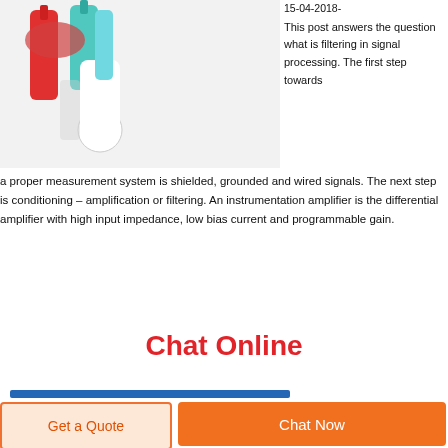[Figure (photo): Photo of colorful medical/lab vials or syringes (red, teal/blue, white) on a light background, viewed from above]
15-04-2018- This post answers the question what is filtering in signal processing. The first step towards a proper measurement system is shielded, grounded and wired signals. The next step is conditioning – amplification or filtering. An instrumentation amplifier is the differential amplifier with high input impedance, low bias current and programmable gain.
Chat Online
Get a Quote
Chat Now